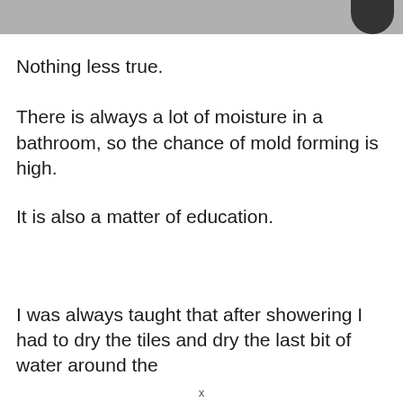[Figure (photo): A photo strip at the top of the page showing a gray background with a dark blurred object (possibly a showerhead or faucet) in the upper right corner.]
Nothing less true.
There is always a lot of moisture in a bathroom, so the chance of mold forming is high.
It is also a matter of education.
I was always taught that after showering I had to dry the tiles and dry the last bit of water around the
x